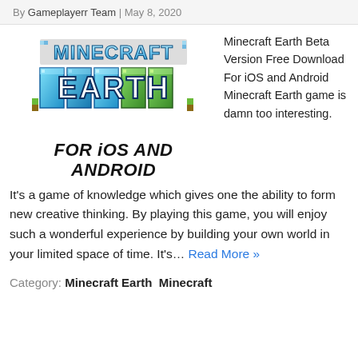By Gameplayerr Team | May 8, 2020
[Figure (illustration): Minecraft Earth logo with 'FOR iOS AND ANDROID' subtitle text below it]
Minecraft Earth Beta Version Free Download For iOS and Android Minecraft Earth game is damn too interesting.
It's a game of knowledge which gives one the ability to form new creative thinking. By playing this game, you will enjoy such a wonderful experience by building your own world in your limited space of time. It's… Read More »
Category: Minecraft Earth  Minecraft